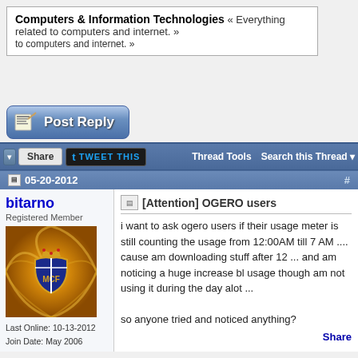Computers & Information Technologies « Everything related to computers and internet. »
[Figure (illustration): Post Reply button with newspaper icon, blue rounded rectangle]
Share | TWEET THIS | Thread Tools | Search this Thread
05-20-2012  #
bitarno
Registered Member
[Figure (photo): Real Madrid FC crest logo on swirling golden background]
Last Online: 10-13-2012
Join Date: May 2006
[Attention] OGERO users

i want to ask ogero users if their usage meter is still counting the usage from 12:00AM till 7 AM .... cause am downloading stuff after 12 ... and am noticing a huge increase bl usage though am not using it during the day alot ...

so anyone tried and noticed anything?
Share